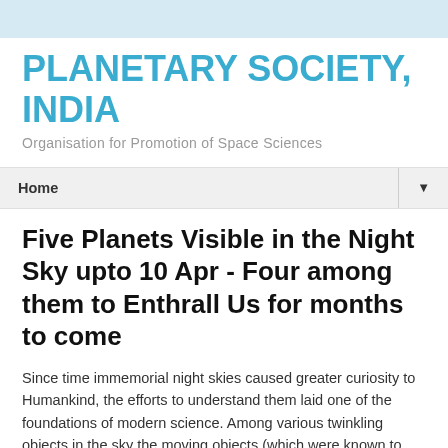PLANETARY SOCIETY, INDIA
Organisation for Promotion of Space Sciences
Home
Five Planets Visible in the Night Sky upto 10 Apr - Four among them to Enthrall Us for months to come
Since time immemorial night skies caused greater curiosity to Humankind, the efforts to understand them laid one of the foundations of modern science. Among various twinkling objects in the sky the moving objects (which were known to ancients as wanderers) among stars surprised the observers